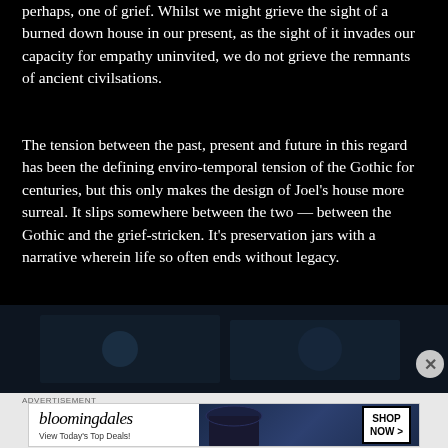perhaps, one of grief. Whilst we might grieve the sight of a burned down house in our present, as the sight of it invades our capacity for empathy uninvited, we do not grieve the remnants of ancient civilsations.
The tension between the past, present and future in this regard has been the defining enviro-temporal tension of the Gothic for centuries, but this only makes the design of Joel's house more surreal. It slips somewhere between the two — between the Gothic and the grief-stricken. It's preservation jars with a narrative wherein life so often ends without legacy.
[Figure (photo): Dark, low-light photograph, mostly black with some dark blue/teal tones suggesting an interior or night scene]
ADVERTISEMENT
[Figure (other): Bloomingdale's advertisement banner with logo text 'bloomingdales', subtext 'View Today's Top Deals!', image of woman in large brimmed hat, and 'SHOP NOW >' button]